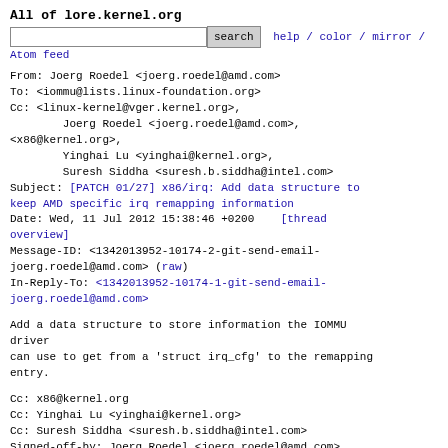All of lore.kernel.org
search  help / color / mirror / Atom feed
From: Joerg Roedel <joerg.roedel@amd.com>
To: <iommu@lists.linux-foundation.org>
Cc: <linux-kernel@vger.kernel.org>,
        Joerg Roedel <joerg.roedel@amd.com>,
<x86@kernel.org>,
        Yinghai Lu <yinghai@kernel.org>,
        Suresh Siddha <suresh.b.siddha@intel.com>
Subject: [PATCH 01/27] x86/irq: Add data structure to keep AMD specific irq remapping information
Date: Wed, 11 Jul 2012 15:38:46 +0200    [thread overview]
Message-ID: <1342013952-10174-2-git-send-email-joerg.roedel@amd.com> (raw)
In-Reply-To: <1342013952-10174-1-git-send-email-joerg.roedel@amd.com>
Add a data structure to store information the IOMMU driver
can use to get from a 'struct irq_cfg' to the remapping
entry.
Cc: x86@kernel.org
Cc: Yinghai Lu <yinghai@kernel.org>
Cc: Suresh Siddha <suresh.b.siddha@intel.com>
Signed-off-by: Joerg Roedel <joerg.roedel@amd.com>